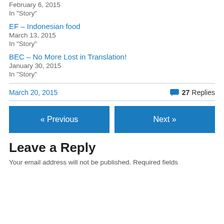February 6, 2015
In "Story"
EF – Indonesian food
March 13, 2015
In "Story"
BEC – No More Lost in Translation!
January 30, 2015
In "Story"
March 20, 2015
27 Replies
« Previous
Next »
Leave a Reply
Your email address will not be published. Required fields